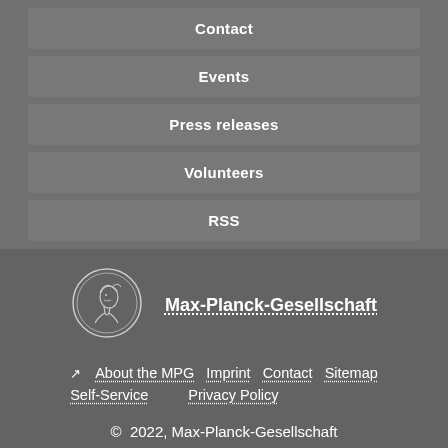Contact
Events
Press releases
Volunteers
RSS
[Figure (logo): Max-Planck-Gesellschaft circular coin logo with profile of Minerva]
Max-Planck-Gesellschaft
↗ About the MPG   Imprint   Contact   Sitemap   Self-Service   Privacy Policy
© 2022, Max-Planck-Gesellschaft